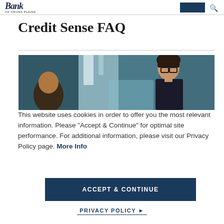Bank of Cross Plains
Credit Sense FAQ
[Figure (photo): A woman with glasses looking down at a screen in a bright, modern office environment]
This website uses cookies in order to offer you the most relevant information. Please "Accept & Continue" for optimal site performance. For additional information, please visit our Privacy Policy page. More Info
ACCEPT & CONTINUE
PRIVACY POLICY →